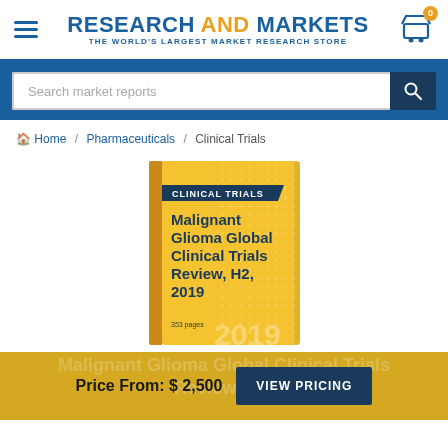RESEARCH AND MARKETS — THE WORLD'S LARGEST MARKET RESEARCH STORE
Search market reports
Home / Pharmaceuticals / Clinical Trials
[Figure (illustration): Book cover for 'Malignant Glioma Global Clinical Trials Review, H2, 2019' — yellow cover with dark blue title text, 'CLINICAL TRIALS' banner, 353 pages, year 2019 watermark]
Price From: $ 2,500
VIEW PRICING